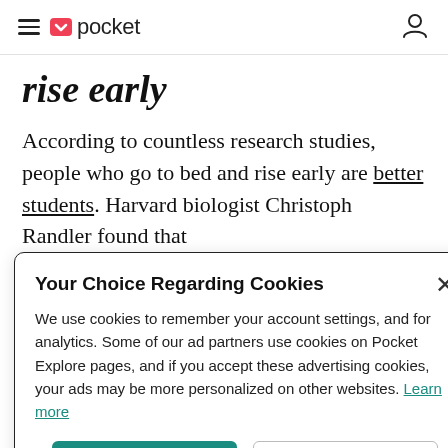pocket
rise early
According to countless research studies, people who go to bed and rise early are better students. Harvard biologist Christoph Randler found that
Your Choice Regarding Cookies
We use cookies to remember your account settings, and for analytics. Some of our ad partners use cookies on Pocket Explore pages, and if you accept these advertising cookies, your ads may be more personalized on other websites. Learn more